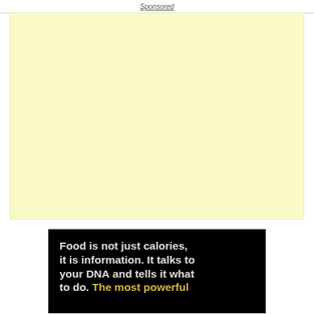Sponsored
[Figure (other): Yellow/cream colored advertisement block placeholder]
[Figure (illustration): Black background image with white and yellow bold text reading: Food is not just calories, it is information. It talks to your DNA and tells it what to do. The most powerful...]